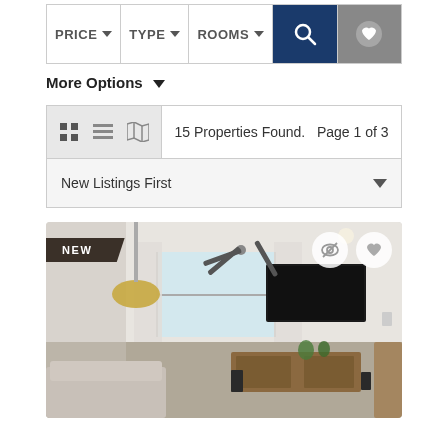[Figure (screenshot): Property search filter bar with PRICE, TYPE, ROOMS dropdowns and search/favorites icons]
More Options ▼
15 Properties Found.  Page 1 of 3
New Listings First
[Figure (photo): Interior living room photo of a modern apartment showing ceiling fan, wall-mounted TV, wooden credenza, pendant lamp, sofa, and sliding glass doors with natural light. NEW badge in top-left corner.]